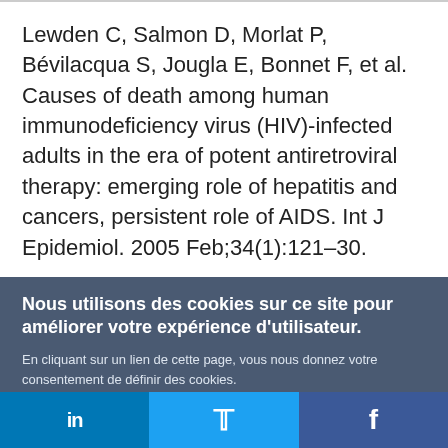Lewden C, Salmon D, Morlat P, Bévilacqua S, Jougla E, Bonnet F, et al. Causes of death among human immunodeficiency virus (HIV)-infected adults in the era of potent antiretroviral therapy: emerging role of hepatitis and cancers, persistent role of AIDS. Int J Epidemiol. 2005 Feb;34(1):121–30.
Nous utilisons des cookies sur ce site pour améliorer votre expérience d'utilisateur.
En cliquant sur un lien de cette page, vous nous donnez votre consentement de définir des cookies.
Oui, je suis d'accord
Plus d'infos
[Figure (infographic): Social media share bar with LinkedIn (blue), Twitter (light blue), and Facebook (dark blue) icons at the bottom of the page.]